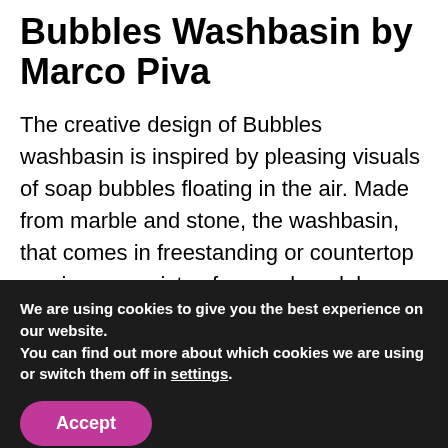Bubbles Washbasin by Marco Piva
The creative design of Bubbles washbasin is inspired by pleasing visuals of soap bubbles floating in the air. Made from marble and stone, the washbasin, that comes in freestanding or countertop versions, consists of several modules fastened by metal inserts, allowing a combination of different marble colors and finishes. This way,
We are using cookies to give you the best experience on our website.
You can find out more about which cookies we are using or switch them off in settings.
Accept